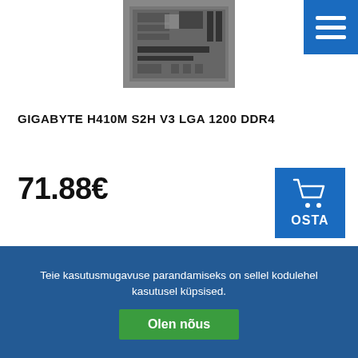[Figure (photo): Product photo of GIGABYTE H410M S2H V3 motherboard, grey/black tones, top area of the page]
GIGABYTE H410M S2H V3 LGA 1200 DDR4
71.88€
[Figure (photo): Partial product photo of a second product (appears to be a graphics card or motherboard), visible at the bottom of the page behind the cookie banner]
Teie kasutusmugavuse parandamiseks on sellel kodulehel kasutusel küpsised.
Olen nõus